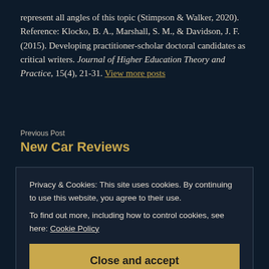represent all angles of this topic (Stimpson & Walker, 2020). Reference: Klocko, B. A., Marshall, S. M., & Davidson, J. F. (2015). Developing practitioner-scholar doctoral candidates as critical writers. Journal of Higher Education Theory and Practice, 15(4), 21-31. View more posts
Previous Post
New Car Reviews
Privacy & Cookies: This site uses cookies. By continuing to use this website, you agree to their use. To find out more, including how to control cookies, see here: Cookie Policy
Close and accept